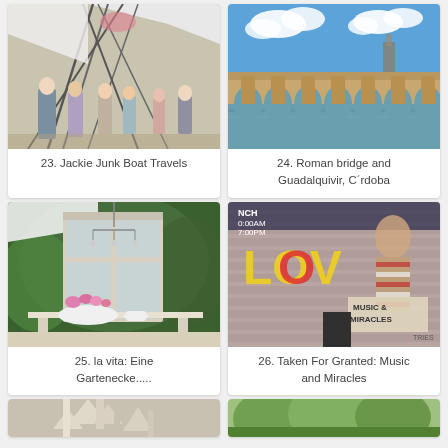[Figure (photo): Outdoor market or festival scene with people and geometric metal sculpture, tent in background]
23. Jackie Junk Boat Travels
[Figure (photo): Roman bridge over Guadalquivir river with blue sky and clouds, Córdoba]
24. Roman bridge and Guadalquivir, C´rdoba
[Figure (photo): Vintage window frame with chandelier and flower arrangement on white table in garden setting]
25. la vita: Eine Gartenecke.....
[Figure (photo): Street mural with LOVE text and Music & Miracles painting on brick wall]
26. Taken For Granted: Music and Miracles
[Figure (photo): Cathedral or church building partially visible at bottom of page]
[Figure (photo): Green trees or park scene partially visible at bottom of page]